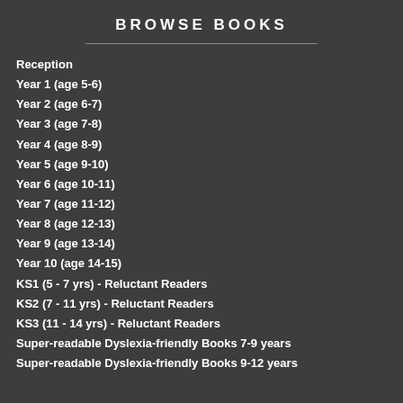BROWSE BOOKS
Reception
Year 1 (age 5-6)
Year 2 (age 6-7)
Year 3 (age 7-8)
Year 4 (age 8-9)
Year 5 (age 9-10)
Year 6 (age 10-11)
Year 7 (age 11-12)
Year 8 (age 12-13)
Year 9 (age 13-14)
Year 10 (age 14-15)
KS1 (5 - 7 yrs) - Reluctant Readers
KS2 (7 - 11 yrs) - Reluctant Readers
KS3 (11 - 14 yrs) - Reluctant Readers
Super-readable Dyslexia-friendly Books 7-9 years
Super-readable Dyslexia-friendly Books 9-12 years